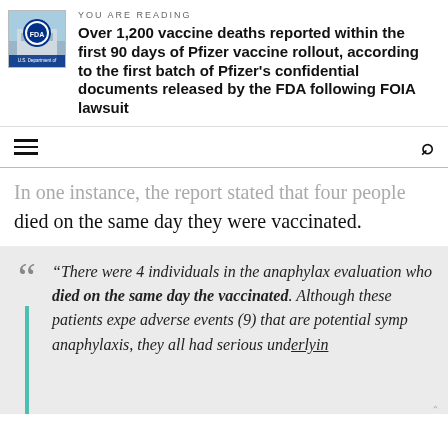[Figure (logo): FDA logo - U.S. Department of Food and Drug Administration building photo]
YOU ARE READING
Over 1,200 vaccine deaths reported within the first 90 days of Pfizer vaccine rollout, according to the first batch of Pfizer's confidential documents released by the FDA following FOIA lawsuit
In one instance, the report stated that four people died on the same day they were vaccinated.
“There were 4 individuals in the anaphylax evaluation who died on the same day they were vaccinated. Although these patients experienced adverse events (9) that are potential symptoms of anaphylaxis, they all had serious underlying